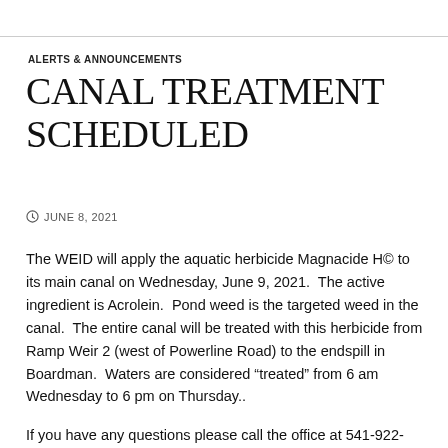ALERTS & ANNOUNCEMENTS
CANAL TREATMENT SCHEDULED
JUNE 8, 2021
The WEID will apply the aquatic herbicide Magnacide H© to its main canal on Wednesday, June 9, 2021.  The active ingredient is Acrolein.  Pond weed is the targeted weed in the canal.  The entire canal will be treated with this herbicide from Ramp Weir 2 (west of Powerline Road) to the endspill in Boardman.  Waters are considered “treated” from 6 am Wednesday to 6 pm on Thursday..
If you have any questions please call the office at 541-922-